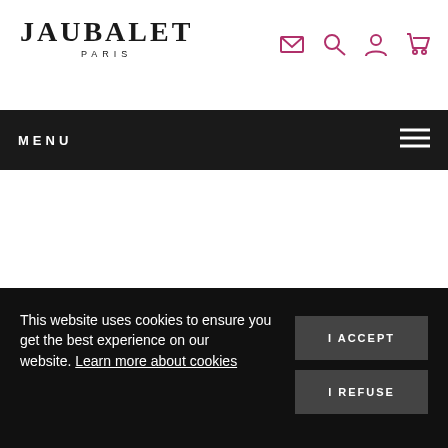[Figure (logo): Jaubalet Paris logo with serif bold text and PARIS subtitle]
MENU
This website uses cookies to ensure you get the best experience on our website. Learn more about cookies
I ACCEPT
I REFUSE